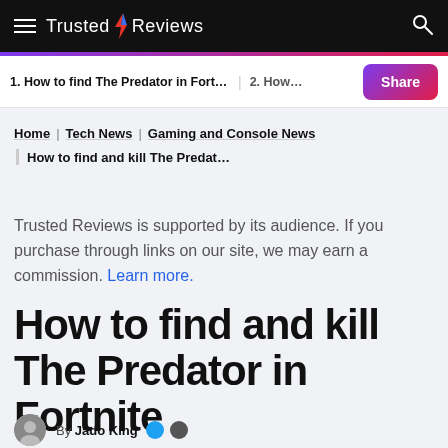Trusted Reviews
1. How to find The Predator in Fortnite
2. How…
Home | Tech News | Gaming and Console News | How to find and kill The Predat...
Trusted Reviews is supported by its audience. If you purchase through links on our site, we may earn a commission. Learn more.
How to find and kill The Predator in Fortnite
By Jado King